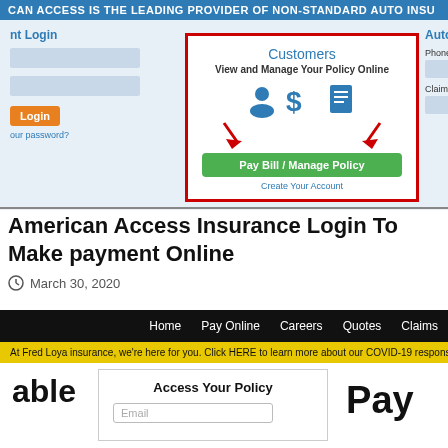[Figure (screenshot): American Access Insurance website screenshot showing login form on left, 'Customers – View and Manage Your Policy Online' box with red border in center with Pay Bill/Manage Policy button, and Autowatch login on right, with blue banner 'CAN ACCESS IS THE LEADING PROVIDER OF NON-STANDARD AUTO INSU' at top]
American Access Insurance Login To Make payment Online
March 30, 2020
[Figure (screenshot): Fred Loya Insurance website screenshot showing black navigation bar with Home, Pay Online, Careers, Quotes, Claims links; yellow COVID-19 banner; left side shows 'able' text; center shows 'Access Your Policy' box with Email input; right shows 'Pay' text]